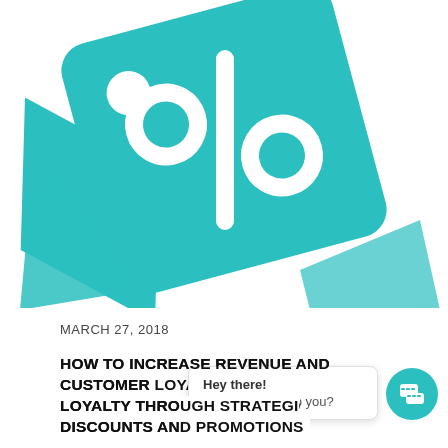[Figure (illustration): Teal/turquoise percent sign tag icon and overlapping price tag shapes on white background]
MARCH 27, 2018
HOW TO INCREASE REVENUE AND CUSTOMER LOYALTY THROUGH DISCOUNTS AND...
[Figure (screenshot): Chat popup widget showing 'Hey there! How can we help you?' with a teal chat icon button]